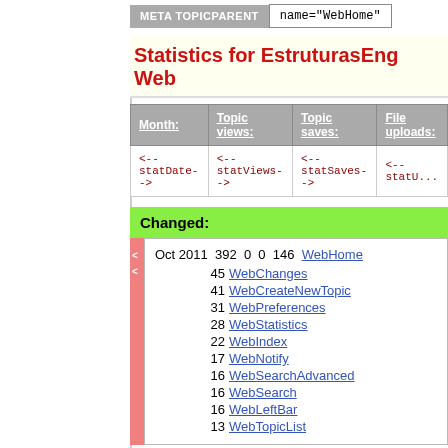| META TOPICPARENT | name="WebHome" |
Statistics for EstruturasEng Web
| Month: | Topic views: | Topic saves: | File uploads: |
| --- | --- | --- | --- |
| <--statDate--> | <--statViews--> | <--statSaves--> | <--statU... |
Changed:
Oct 2011  392  0  0  146  WebHome
45 WebChanges
41 WebCreateNewTopic
31 WebPreferences
28 WebStatistics
22 WebIndex
17 WebNotify
16 WebSearchAdvanced
16 WebSearch
16 WebLeftBar
13 WebTopicList